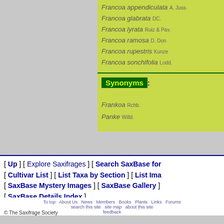Francoa appendiculata  A. Juss.
Francoa glabrata  DC.
Francoa lyrata  Ruiz & Pav.
Francoa ramosa  D. Don
Francoa rupestris  Kunze
Francoa sonchifolia  Lodd.
Synonyms:
Frankoa  Rchb.
Panke  Willd.
[ Up ] [ Explore Saxifrages ] [ Search SaxBase for [ Cultivar List ] [ List Taxa by Section ] [ List Ima [ SaxBase Mystery Images ] [ SaxBase Gallery ] [ SaxBase Details Index ]
To top  About Us  News  Members  Books  Plants  Links  Forums  search this site  site map  about this site  feedback
© The Saxifrage Society